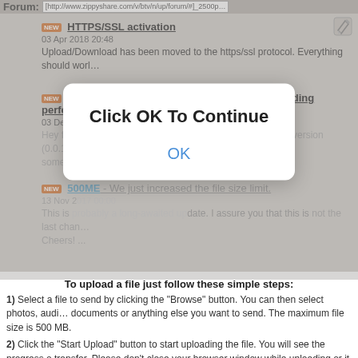Forum: [http://www.zippyshare.com/v/...]
HTTPS/SSL activation
03 Apr 2018 20:48
Upload/Download has been moved to the https/ssl protocol. Everything should work...
Zippyuploader update, Docs and Videos encoding performance boost
03 Dec 2017 22:41
Hey folks, <strong>A quick update</strong> - Today a new version (0.0.16.0) of the something...
500MB - We just increased the file size limit.
13 Nov 2017 00:00
This is probably a long-awaited update. I assure you that this is not the last change. Cheers! ...
[Figure (screenshot): Modal dialog overlay with text 'Click OK To Continue' and an 'OK' button]
To upload a file just follow these simple steps:
1) Select a file to send by clicking the "Browse" button. You can then select photos, audio, documents or anything else you want to send. The maximum file size is 500 MB.
2) Click the "Start Upload" button to start uploading the file. You will see the progress of transfer. Please don't close your browser window while uploading or it will cancel the upload.